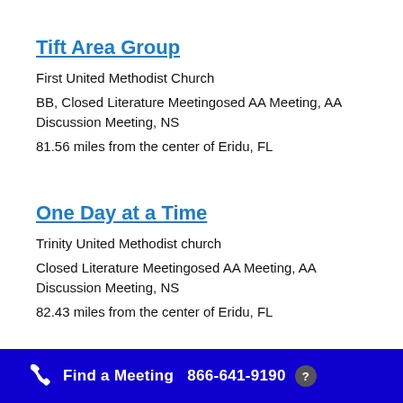Tift Area Group
First United Methodist Church
BB, Closed Literature Meetingosed AA Meeting, AA Discussion Meeting, NS
81.56 miles from the center of Eridu, FL
One Day at a Time
Trinity United Methodist church
Closed Literature Meetingosed AA Meeting, AA Discussion Meeting, NS
82.43 miles from the center of Eridu, FL
Find a Meeting  866-641-9190